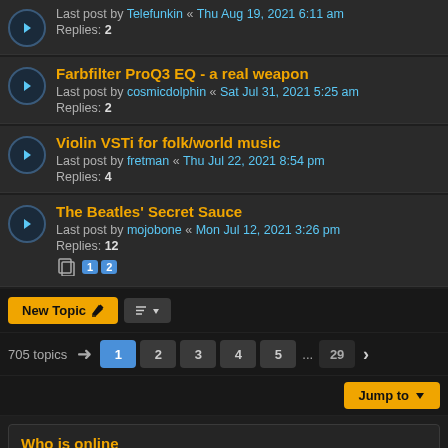Last post by Telefunkin « Thu Aug 19, 2021 6:11 am
Replies: 2
Farbfilter ProQ3 EQ - a real weapon
Last post by cosmicdolphin « Sat Jul 31, 2021 5:25 am
Replies: 2
Violin VSTi for folk/world music
Last post by fretman « Thu Jul 22, 2021 8:54 pm
Replies: 4
The Beatles' Secret Sauce
Last post by mojobone « Mon Jul 12, 2021 3:26 pm
Replies: 12
Pages: 1 2
New Topic | Sort | 705 topics | Page 1 2 3 4 5 ... 29
Jump to
Who is online
Users browsing this forum: No registered users and 1 guest